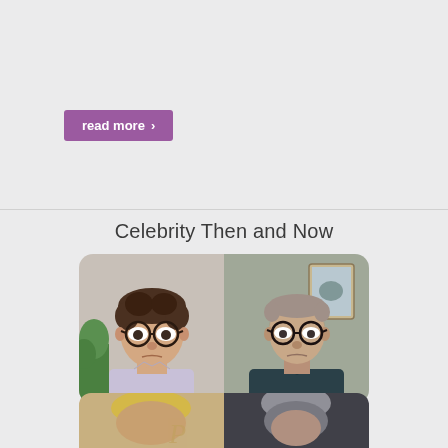read more >
Celebrity Then and Now
[Figure (photo): Side-by-side comparison photos of Rick Moranis: younger on the left wearing glasses and a light shirt, older on the right wearing glasses and a dark shirt]
Rick Moranis Then & Now!
[Figure (photo): Bottom preview of another celebrity then and now comparison, partially visible]